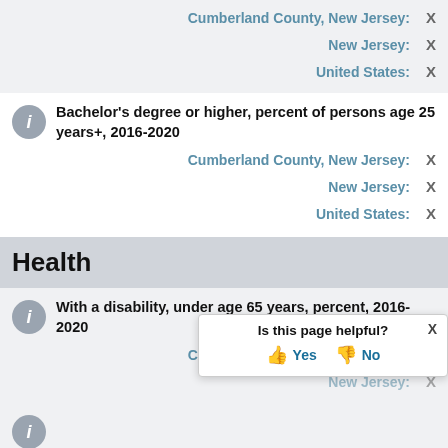Cumberland County, New Jersey: X
New Jersey: X
United States: X
Bachelor's degree or higher, percent of persons age 25 years+, 2016-2020
Cumberland County, New Jersey: X
New Jersey: X
United States: X
Health
With a disability, under age 65 years, percent, 2016-2020
Cumberland County, New Jersey: X
New Jersey: X